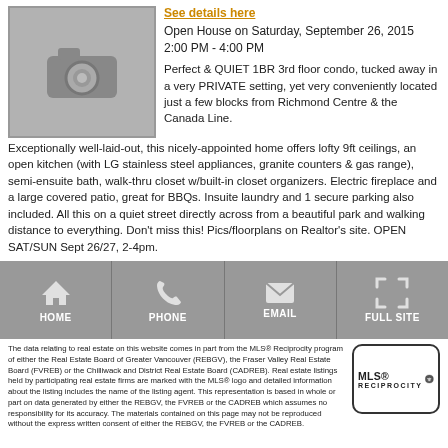[Figure (photo): Camera/photo placeholder icon on grey background]
See details here
Open House on Saturday, September 26, 2015 2:00 PM - 4:00 PM
Perfect & QUIET 1BR 3rd floor condo, tucked away in a very PRIVATE setting, yet very conveniently located just a few blocks from Richmond Centre & the Canada Line. Exceptionally well-laid-out, this nicely-appointed home offers lofty 9ft ceilings, an open kitchen (with LG stainless steel appliances, granite counters & gas range), semi-ensuite bath, walk-thru closet w/built-in closet organizers. Electric fireplace and a large covered patio, great for BBQs. Insuite laundry and 1 secure parking also included. All this on a quiet street directly across from a beautiful park and walking distance to everything. Don't miss this! Pics/floorplans on Realtor's site. OPEN SAT/SUN Sept 26/27, 2-4pm.
[Figure (infographic): Navigation bar with HOME, PHONE, EMAIL, FULL SITE icons on grey background]
The data relating to real estate on this website comes in part from the MLS® Reciprocity program of either the Real Estate Board of Greater Vancouver (REBGV), the Fraser Valley Real Estate Board (FVREB) or the Chilliwack and District Real Estate Board (CADREB). Real estate listings held by participating real estate firms are marked with the MLS® logo and detailed information about the listing includes the name of the listing agent. This representation is based in whole or part on data generated by either the REBGV, the FVREB or the CADREB which assumes no responsibility for its accuracy. The materials contained on this page may not be reproduced without the express written consent of either the REBGV, the FVREB or the CADREB.